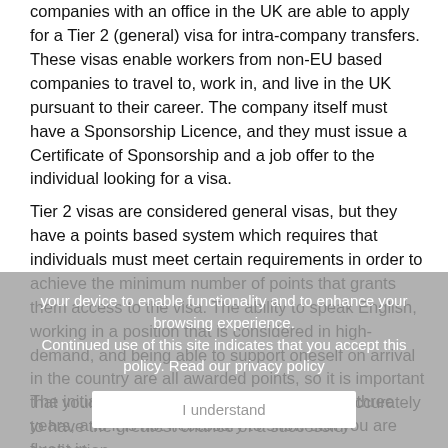companies with an office in the UK are able to apply for a Tier 2 (general) visa for intra-company transfers. These visas enable workers from non-EU based companies to travel to, work in, and live in the UK pursuant to their career. The company itself must have a Sponsorship Licence, and they must issue a Certificate of Sponsorship and a job offer to the individual looking for a visa.
Tier 2 visas are considered general visas, but they have a points based system which requires that individuals must meet certain requirements in order to achieve the minimum number of points that grants them access to the visa. The ability to speak English, working in a position that is considered in high-demand, and being able to support oneself on arrival in the country are all awarded points, so it is important that your application is completed fully and accurately to have the greatest chance of a successful application.
[Figure (other): Cookie consent overlay with text: 'your device to enable functionality and to enhance your browsing experience. Continued use of this site indicates that you accept this policy. Read our privacy policy' and an 'I understand' button]
The initial visa will be granted for a period of three years, and it is not necessary to show that you are fluent in